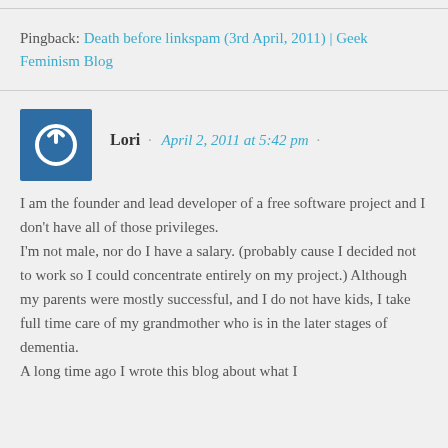Pingback: Death before linkspam (3rd April, 2011) | Geek Feminism Blog
Lori · April 2, 2011 at 5:42 pm ·
I am the founder and lead developer of a free software project and I don't have all of those privileges.
I'm not male, nor do I have a salary. (probably cause I decided not to work so I could concentrate entirely on my project.) Although my parents were mostly successful, and I do not have kids, I take full time care of my grandmother who is in the later stages of dementia.
A long time ago I wrote this blog about what I